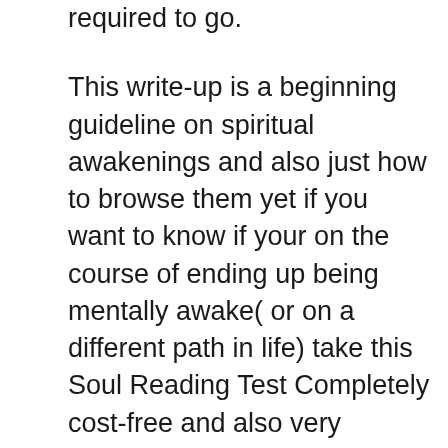required to go.
This write-up is a beginning guideline on spiritual awakenings and also just how to browse them yet if you want to know if your on the course of ending up being mentally awake( or on a different path in life) take this Soul Reading Test Completely cost-free and also very accurate. you'll be shocked at just how good it remains in telling you where you are in your life as well as where your headed.